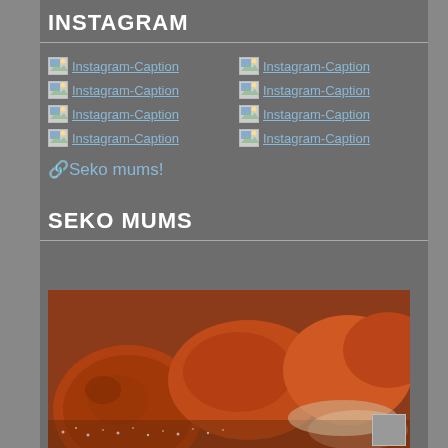INSTAGRAM
[Figure (screenshot): Eight broken image links labeled Instagram-Caption arranged in a 2-column grid]
🔗Seko mums!
SEKO MUMS
[Figure (photo): Close-up photo of reddish-brown fried food items (mums/dumplings)]